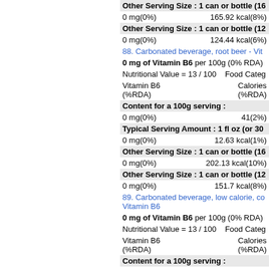Other Serving Size : 1 can or bottle (16...
0 mg(0%)    165.92 kcal(8%)
Other Serving Size : 1 can or bottle (12...
0 mg(0%)    124.44 kcal(6%)
88. Carbonated beverage, root beer - Vitamin B6
0 mg of Vitamin B6 per 100g (0% RDA)
Nutritional Value = 13 / 100    Food Categ...
Vitamin B6 (%RDA)    Calories (%RDA)
Content for a 100g serving :
0 mg(0%)    41(2%)
Typical Serving Amount : 1 fl oz (or 30...
0 mg(0%)    12.63 kcal(1%)
Other Serving Size : 1 can or bottle (16...
0 mg(0%)    202.13 kcal(10%)
Other Serving Size : 1 can or bottle (12...
0 mg(0%)    151.7 kcal(8%)
89. Carbonated beverage, low calorie, co... Vitamin B6
0 mg of Vitamin B6 per 100g (0% RDA)
Nutritional Value = 13 / 100    Food Categ...
Vitamin B6 (%RDA)    Calories (%RDA)
Content for a 100g serving :
0 mg(0%)    0(0%)
Typical Serving Amount : 1 fl oz (or 30...